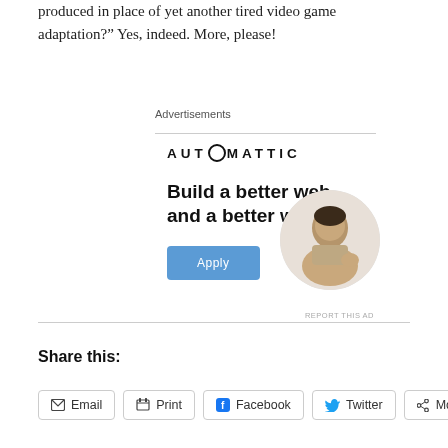produced in place of yet another tired video game adaptation?” Yes, indeed. More, please!
Advertisements
[Figure (illustration): Automattic advertisement featuring the logo 'AUTOMATTIC', bold headline 'Build a better web and a better world.', an Apply button in blue, and a circular photo of a man thinking at a desk.]
REPORT THIS AD
Share this:
Email
Print
Facebook
Twitter
More